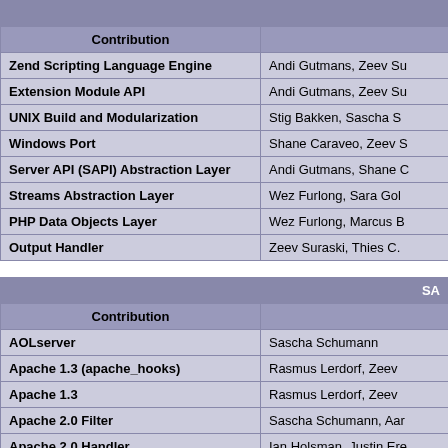| Contribution |  |
| --- | --- |
| Zend Scripting Language Engine | Andi Gutmans, Zeev Su |
| Extension Module API | Andi Gutmans, Zeev Su |
| UNIX Build and Modularization | Stig Bakken, Sascha S |
| Windows Port | Shane Caraveo, Zeev S |
| Server API (SAPI) Abstraction Layer | Andi Gutmans, Shane C |
| Streams Abstraction Layer | Wez Furlong, Sara Gol |
| PHP Data Objects Layer | Wez Furlong, Marcus B |
| Output Handler | Zeev Suraski, Thies C. |
| SA | Contribution |  |
| --- | --- | --- |
| AOLserver | Sascha Schumann |
| Apache 1.3 (apache_hooks) | Rasmus Lerdorf, Zeev |
| Apache 1.3 | Rasmus Lerdorf, Zeev |
| Apache 2.0 Filter | Sascha Schumann, Aar |
| Apache 2.0 Handler | Ian Holsman, Justin Ere |
| Caudium / Roxen | David Hedbor |
| CGI / FastCGI | Rasmus Lerdorf, Stig B |
| Chi | Fdiu Kudio Liu M |